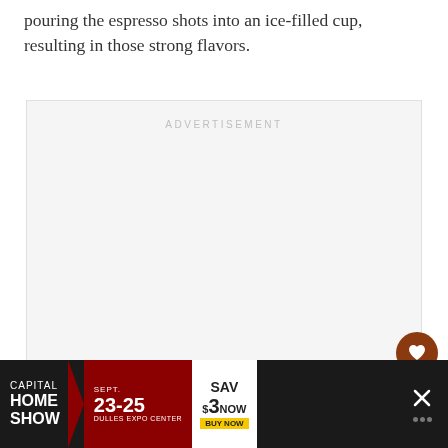pouring the espresso shots into an ice-filled cup, resulting in those strong flavors.
[Figure (other): Advertisement placeholder box with 'ADVERTISEMENT' label in light gray text on a light gray background]
[Figure (other): Heart (favorite) button — circular brown button with white heart icon]
[Figure (other): Share button — circular white button with share icon and plus sign]
[Figure (other): Bottom banner advertisement for Capital Home Show, Sept. 23-25, Dulles Expo Center. Save $3 Now / Buy Now. Dark background with dark red accent.]